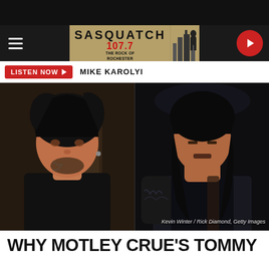Sasquatch 107.7 The Rock of Rochester
LISTEN NOW ▶  MIKE KAROLYI
[Figure (photo): Two side-by-side photos: left shows a man with black hair and neck tattoos in a black t-shirt; right shows a man with long black hair playing guitar. Credit: Kevin Winter / Rick Diamond, Getty Images]
Kevin Winter / Rick Diamond, Getty Images
WHY MOTLEY CRUE'S TOMMY